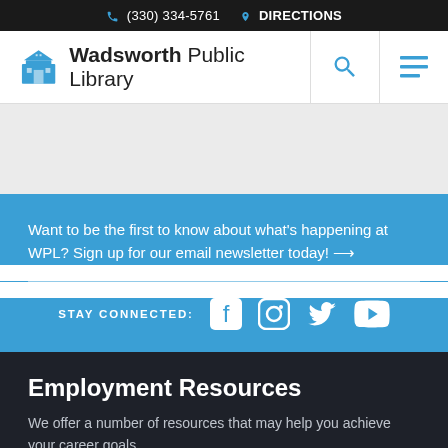(330) 334-5761  DIRECTIONS
[Figure (logo): Wadsworth Public Library logo with building icon]
Want to be the first to know about what's happening at WPL? Sign up for our email newsletter today! →
STAY CONNECTED:
Employment Resources
We offer a number of resources that may help you achieve your career goals.
BROWSE RESOURCES